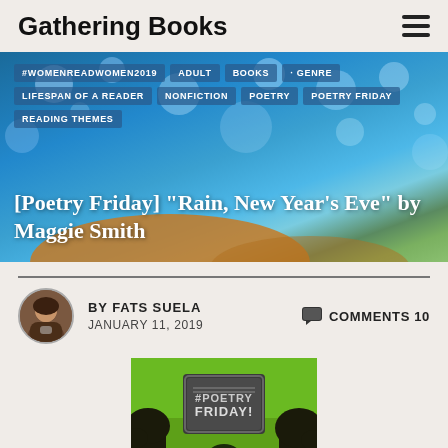Gathering Books
[Figure (photo): Hero banner image with blue bokeh background, tags overlaid, an orange leaf/mountain shape at bottom, and white title text. Tags: #WOMENREADWOMEN2019, ADULT, BOOKS, GENRE, LIFESPAN OF A READER, NONFICTION, POETRY, POETRY FRIDAY, READING THEMES. Title: [Poetry Friday] "Rain, New Year's Eve" by Maggie Smith]
BY FATS SUELA   COMMENTS 10
JANUARY 11, 2019
[Figure (illustration): Green background image with a chalkboard sign reading 'POETRY FRIDAY' and dark tree silhouettes at the bottom]